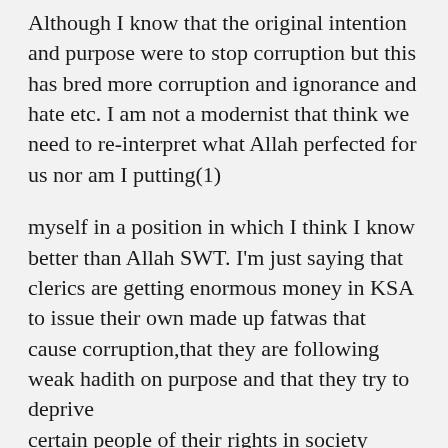Although I know that the original intention and purpose were to stop corruption but this has bred more corruption and ignorance and hate etc. I am not a modernist that think we need to re-interpret what Allah perfected for us nor am I putting(1)
myself in a position in which I think I know better than Allah SWT. I'm just saying that clerics are getting enormous money in KSA to issue their own made up fatwas that cause corruption,that they are following weak hadith on purpose and that they try to deprive certain people of their rights in society